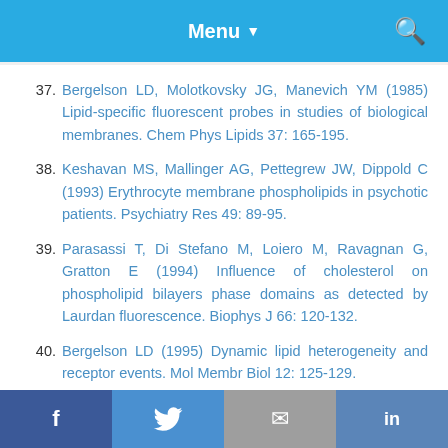Menu ▼
37. Bergelson LD, Molotkovsky JG, Manevich YM (1985) Lipid-specific fluorescent probes in studies of biological membranes. Chem Phys Lipids 37: 165-195.
38. Keshavan MS, Mallinger AG, Pettegrew JW, Dippold C (1993) Erythrocyte membrane phospholipids in psychotic patients. Psychiatry Res 49: 89-95.
39. Parasassi T, Di Stefano M, Loiero M, Ravagnan G, Gratton E (1994) Influence of cholesterol on phospholipid bilayers phase domains as detected by Laurdan fluorescence. Biophys J 66: 120-132.
40. Bergelson LD (1995) Dynamic lipid heterogeneity and receptor events. Mol Membr Biol 12: 125-129.
f  Twitter  Email  in